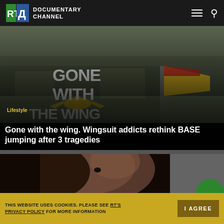RT Д DOCUMENTARY CHANNEL
[Figure (screenshot): Gone with the Wing documentary promotional image showing a person in a yellow wingsuit with a flag against an aerial landscape background. Text overlay reads: GONE WITH THE WING, WINGSUIT ADDICTS RETHINK BASE JUMPING]
Gone with the wing. Wingsuit addicts rethink BASE jumping after 3 tragedies
[Figure (photo): Close-up profile photo of a young child's face with dramatic side lighting, dark background]
THIS WEBSITE USES COOKIES. PLEASE SEE RT'S PRIVACY POLICY FOR MORE INFORMATION
I AGREE